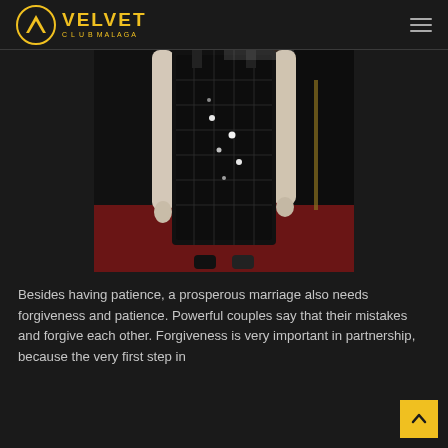VELVET CLUB MALAGA
[Figure (photo): A person in a black sequined/beaded evening gown standing on a red carpet, photographed from neck to feet. Dark background with red carpet visible.]
Besides having patience, a prosperous marriage also needs forgiveness and patience. Powerful couples say that their mistakes and forgive each other. Forgiveness is very important in partnership, because the very first step in